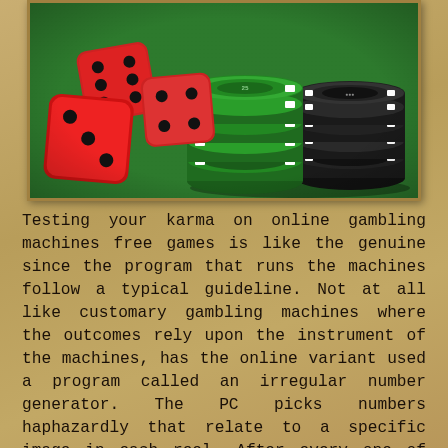[Figure (photo): Photo of red dice and stacks of casino poker chips (green and black/white) on a green felt surface]
Testing your karma on online gambling machines free games is like the genuine since the program that runs the machines follow a typical guideline. Not at all like customary gambling machines where the outcomes rely upon the instrument of the machines, has the online variant used a program called an irregular number generator. The PC picks numbers haphazardly that relate to a specific image in each reel. After every one of the reels has been relegated with an image, the mix